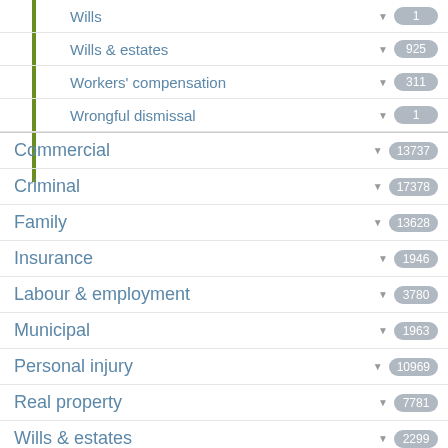Wills | 1
Wills & estates | 925
Workers' compensation | 311
Wrongful dismissal | 1
Commercial | 13737
Criminal | 17378
Family | 13628
Insurance | 1946
Labour & employment | 3780
Municipal | 1963
Personal injury | 10969
Real property | 7781
Wills & estates | 2299
Cases in Co-ownership   Reset [x]
Showing items 1 through 2 of 2.